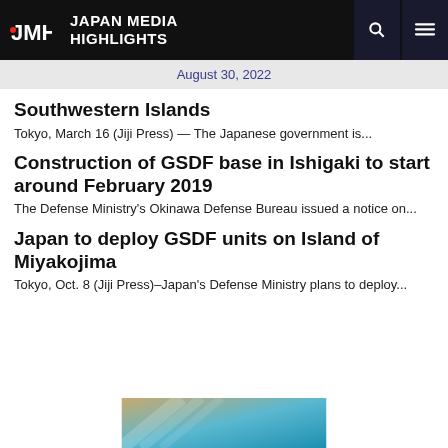JAPAN MEDIA HIGHLIGHTS
August 30, 2022
Southwestern Islands
Tokyo, March 16 (Jiji Press) — The Japanese government is...
Construction of GSDF base in Ishigaki to start around February 2019
The Defense Ministry's Okinawa Defense Bureau issued a notice on...
Japan to deploy GSDF units on Island of Miyakojima
Tokyo, Oct. 8 (Jiji Press)–Japan's Defense Ministry plans to deploy...
[Figure (photo): Partial banner image at bottom of page, appears to show a flag or geometric pattern in blue and tan/gold tones]